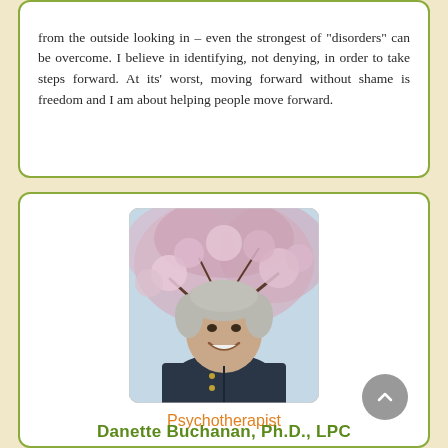from the outside looking in – even the strongest of "disorders" can be overcome. I believe in identifying, not denying, in order to take steps forward. At its' worst, moving forward without shame is freedom and I am about helping people move forward.
[Figure (photo): Portrait photo of a woman with short gray hair, smiling, wearing a dark navy vest, standing in front of cherry blossom trees in bloom.]
Psychotherapist
Danette Buchanan, Ph.D., LPC